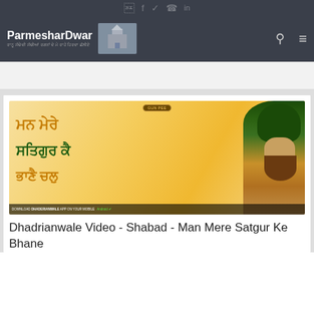ParmesharDwar
[Figure (photo): Promotional image with Punjabi text and a Sikh religious figure wearing a green turban and orange robes]
Dhadrianwale Video - Shabad - Man Mere Satgur Ke Bhane